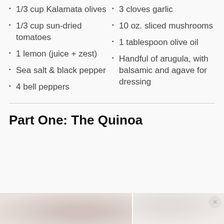1/3 cup Kalamata olives
1/3 cup sun-dried tomatoes
1 lemon (juice + zest)
Sea salt & black pepper
4 bell peppers
3 cloves garlic
10 oz. sliced mushrooms
1 tablespoon olive oil
Handful of arugula, with balsamic and agave for dressing
Part One: The Quinoa
[Figure (photo): Two side-by-side food photos showing quinoa preparation, partially visible at bottom of page]